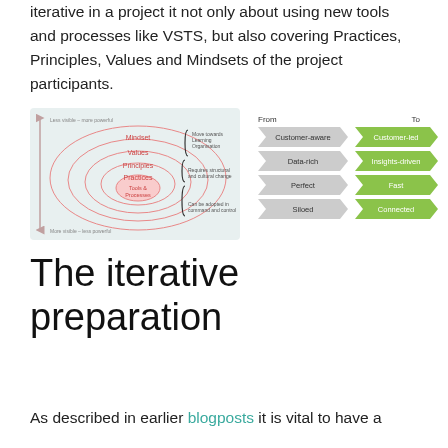iterative in a project it not only about using new tools and processes like VSTS, but also covering Practices, Principles, Values and Mindsets of the project participants.
[Figure (infographic): Left side: concentric ellipses diagram labeled from outer to inner: Mindset, Values, Principles, Practices, Tools & Processes. Arrow on left side says 'Less visible - more powerful' (top) and 'More visible - less powerful' (bottom). Curly brace annotations on right: 'Move towards Learning Organisation', 'Requires structural and cultural change', 'Can be adopted in command and control'. Right side: a From/To table with four rows: Customer-aware → Customer-led, Data-rich → Insights-driven, Perfect → Fast, Siloed → Connected. 'From' labels in grey arrows, 'To' labels in green arrows.]
The iterative preparation
As described in earlier blogposts it is vital to have a